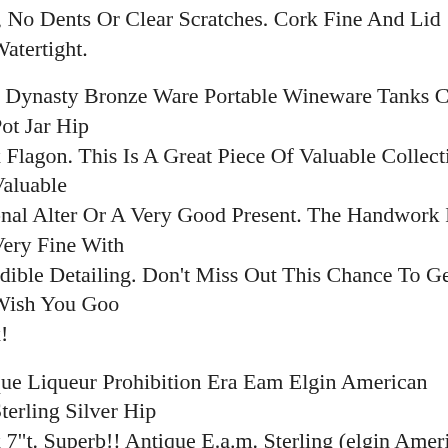r, No Dents Or Clear Scratches. Cork Fine And Lid Watertight.
a Dynasty Bronze Ware Portable Wineware Tanks Crock Pot Jar Hip x Flagon. This Is A Great Piece Of Valuable Collection, A Valuable onal Alter Or A Very Good Present. The Handwork Is Very Fine With edible Detailing. Don't Miss Out This Chance To Get It. Wish You Goo x!
que Liqueur Prohibition Era Eam Elgin American Sterling Silver Hip x 7"t. Superb!! Antique E.a.m. Sterling (elgin American Mfg. Co). hibition Era Circa 1920's" Large! Sterling Silver Concave Liqueur- key Hip Flask (no Monograms),this Is Indeed A Wonderful Piece (bet erson Than Our Pictures Shows).the Flask Weight Approx. 10 Ounces. Attractive And Unusual Piece That Will Make The Lucky Buyer Very oy!!. Provenance From A Palm Beach, Florida Estate Private Collectio surements The Piece Measures Approx. 7" (17.8cm) Tall X Approx. 5' 7cm) Wide X Approx. 1" (2.54cm) In Depth.
China Bronze Ware Beast Dragon Statue Wine Vessel Flagon Hip Fla e Pot. Materials Bronze Ware. Origin China. This Is A Great Piece Of